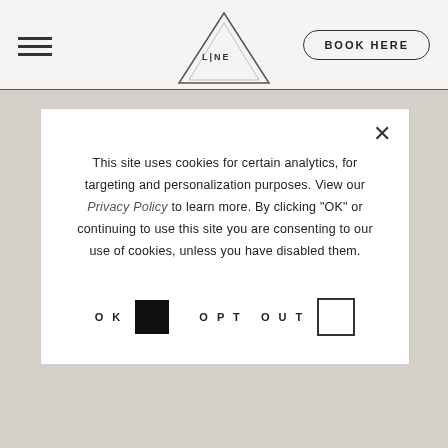[Figure (logo): LINE hotel logo — triangle with 'LINE' text inside]
BOOK HERE
ONLY IN DC
This site uses cookies for certain analytics, for targeting and personalization purposes. View our Privacy Policy to learn more. By clicking "OK" or continuing to use this site you are consenting to our use of cookies, unless you have disabled them.
OK   OPT OUT